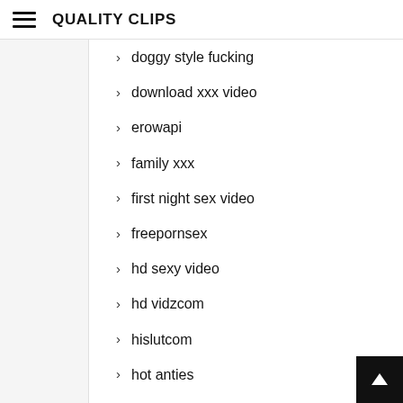QUALITY CLIPS
doggy style fucking
download xxx video
erowapi
family xxx
first night sex video
freepornsex
hd sexy video
hd vidzcom
hislutcom
hot anties
hot sexy vedio